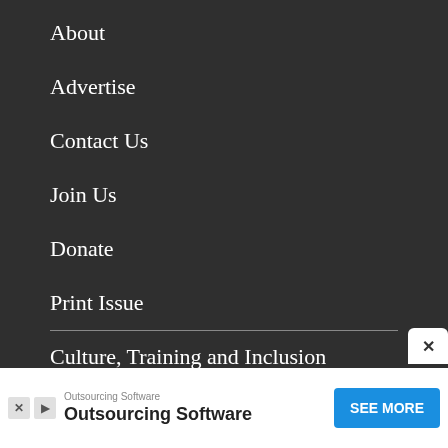About
Advertise
Contact Us
Join Us
Donate
Print Issue
Culture, Training and Inclusion
Archives
Privacy Policy
[Figure (screenshot): Advertisement banner for Outsourcing Software with a blue SEE MORE button and close button]